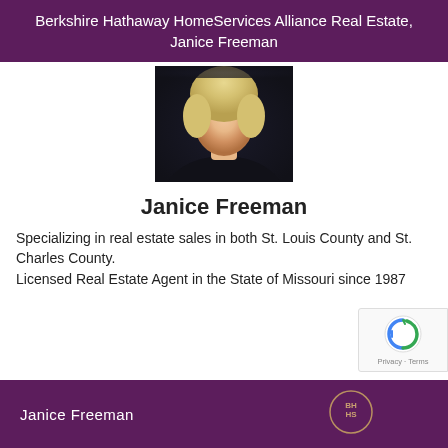Berkshire Hathaway HomeServices Alliance Real Estate, Janice Freeman
[Figure (photo): Headshot photo of Janice Freeman, a woman with blonde shoulder-length hair wearing dark clothing]
Janice Freeman
Specializing in real estate sales in both St. Louis County and St. Charles County.
Licensed Real Estate Agent in the State of Missouri since 1987
Janice Freeman